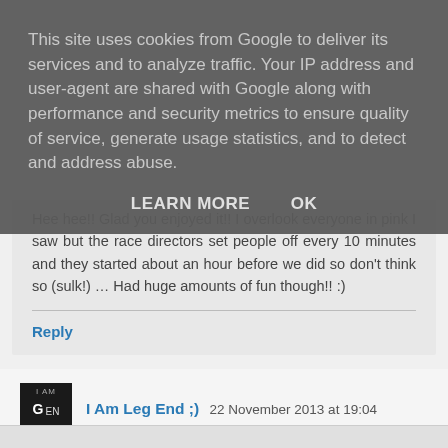This site uses cookies from Google to deliver its services and to analyze traffic. Your IP address and user-agent are shared with Google along with performance and security metrics to ensure quality of service, generate usage statistics, and to detect and address abuse.
LEARN MORE    OK
Hee hee!! Glad you enjoyed it!! I overlook everyone in pink I saw but the race directors set people off every 10 minutes and they started about an hour before we did so don't think so (sulk!) … Had huge amounts of fun though!! :)
Reply
I Am Leg End ;)  22 November 2013 at 19:04
A W E S O M M M M M M E
Reply